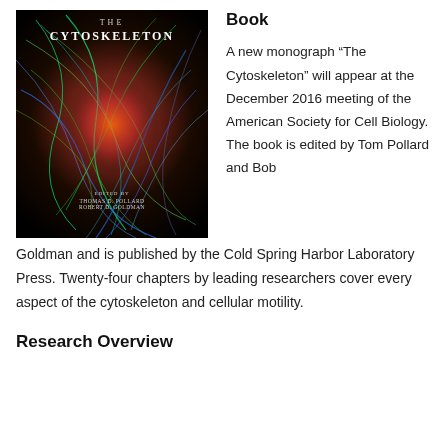[Figure (photo): Book cover of 'The Cytoskeleton', edited by Thomas D. Pollard and Robert D. Goldman, showing a fluorescence microscopy image of a cell with colorful cytoskeletal filaments on a black background.]
Book
A new monograph “The Cytoskeleton” will appear at the December 2016 meeting of the American Society for Cell Biology. The book is edited by Tom Pollard and Bob Goldman and is published by the Cold Spring Harbor Laboratory Press. Twenty-four chapters by leading researchers cover every aspect of the cytoskeleton and cellular motility.
Research Overview